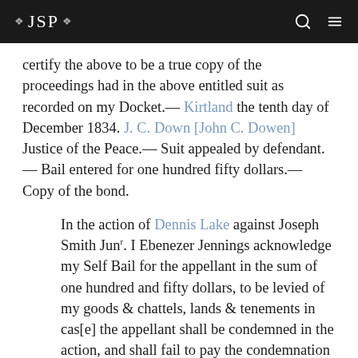JSP
certify the above to be a true copy of the proceedings had in the above entitled suit as recorded on my Docket.— Kirtland the tenth day of December 1834. J. C. Down [John C. Dowen] Justice of the Peace.— Suit appealed by defendant.— Bail entered for one hundred fifty dollars.— Copy of the bond.
In the action of Dennis Lake against Joseph Smith Junr. I Ebenezer Jennings acknowledge my Self Bail for the appellant in the sum of one hundred and fifty dollars, to be levied of my goods & chattels, lands & tenements in cas[e] the appellant shall be condemned in the action, and shall fail to pay the condemnation money and costs that